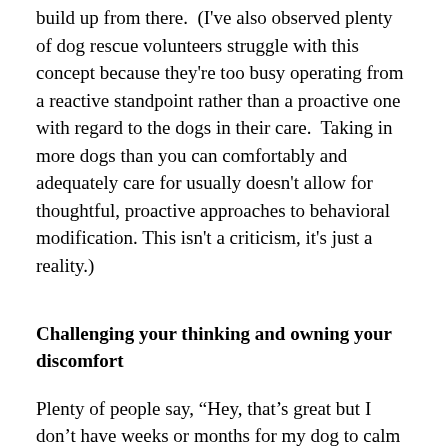build up from there.  (I've also observed plenty of dog rescue volunteers struggle with this concept because they're too busy operating from a reactive standpoint rather than a proactive one with regard to the dogs in their care.  Taking in more dogs than you can comfortably and adequately care for usually doesn't allow for thoughtful, proactive approaches to behavioral modification. This isn't a criticism, it's just a reality.)
Challenging your thinking and owning your discomfort
Plenty of people say, “Hey, that’s great but I don’t have weeks or months for my dog to calm down.  I need him to chill out NOW!  It’s way too inconvenient to have to take the time to do all this positive reinforcement training.” And then they go buy a Cesar Milan book and a choke chain or